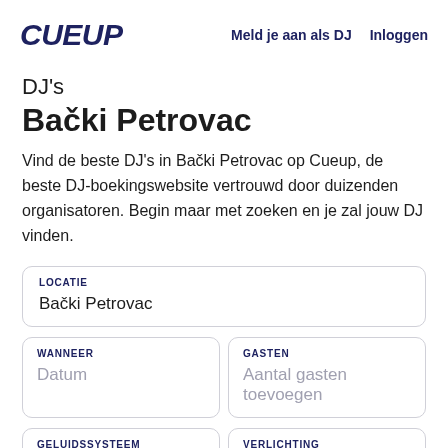CUEUP   Meld je aan als DJ   Inloggen
DJ's Bački Petrovac
Vind de beste DJ's in Bački Petrovac op Cueup, de beste DJ-boekingswebsite vertrouwd door duizenden organisatoren. Begin maar met zoeken en je zal jouw DJ vinden.
LOCATIE
Bački Petrovac
WANNEER
Datum
GASTEN
Aantal gasten toevoegen
GELUIDSSYSTEEM
Geluidssysteem
VERLICHTING
Verlichting toevoegen